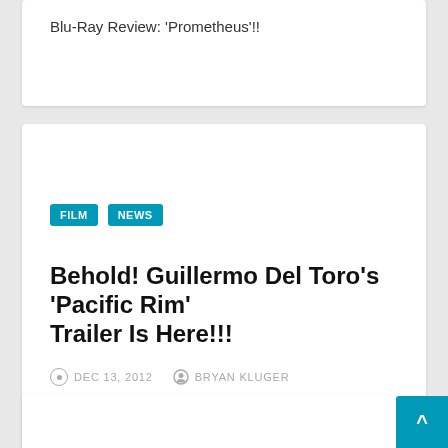Blu-Ray Review: 'Prometheus'!!
Behold! Guillermo Del Toro’s ‘Pacific Rim’ Trailer Is Here!!!
DEC 13, 2012   BRYAN KLUGER
Behold! Guillermo Del Toro's 'Pacific Rim' Trailer Is Here!!!